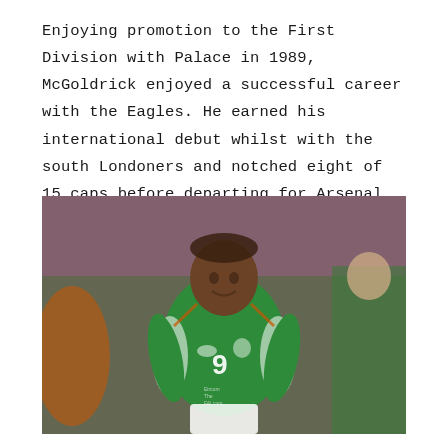Enjoying promotion to the First Division with Palace in 1989, McGoldrick enjoyed a successful career with the Eagles. He earned his international debut whilst with the south Londoners and notched eight of 15 caps before departing for Arsenal in 1993.
[Figure (photo): A footballer wearing a green Republic of Ireland jersey with number 9, running on a football pitch. Another player in green is visible in the background.]